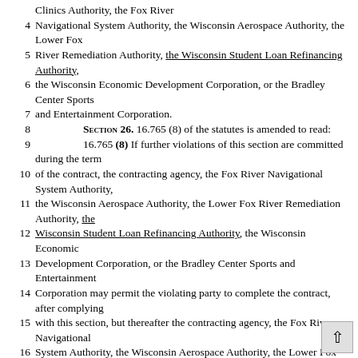Clinics Authority, the Fox River
4   Navigational System Authority, the Wisconsin Aerospace Authority, the Lower Fox
5   River Remediation Authority, the Wisconsin Student Loan Refinancing Authority,
6   the Wisconsin Economic Development Corporation, or the Bradley Center Sports
7   and Entertainment Corporation.
8   SECTION 26. 16.765 (8) of the statutes is amended to read:
9   16.765 (8) If further violations of this section are committed during the term
10  of the contract, the contracting agency, the Fox River Navigational System Authority,
11  the Wisconsin Aerospace Authority, the Lower Fox River Remediation Authority, the
12  Wisconsin Student Loan Refinancing Authority, the Wisconsin Economic
13  Development Corporation, or the Bradley Center Sports and Entertainment
14  Corporation may permit the violating party to complete the contract, after complying
15  with this section, but thereafter the contracting agency, the Fox River Navigational
16  System Authority, the Wisconsin Aerospace Authority, the Lower Fox River
17  Remediation Authority, the Wisconsin Student Loan